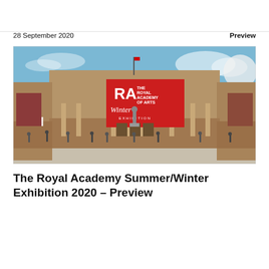28 September 2020
Preview
[Figure (photo): Exterior view of the Royal Academy of Arts building in London, showing a large red banner for the RA Winter Exhibition hung on the facade. People are visible in the foreground courtyard under a blue sky.]
The Royal Academy Summer/Winter Exhibition 2020 – Preview